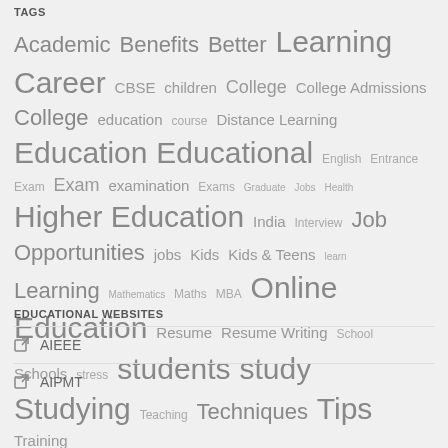TAGS
Academic Benefits Better Learning Career CBSE children College College Admissions College education course Distance Learning Education Educational English Entrance Exam Exam examination Exams Graduate Jobs Health Higher Education India Interview Job Opportunities jobs Kids Kids & Teens learn Learning Mathematics Maths MBA Online Education Resume Resume Writing School Schools stress students study Studying Teaching Techniques Tips Training
EDUCATIONAL WEBSITES
AIEEE
AIPMT